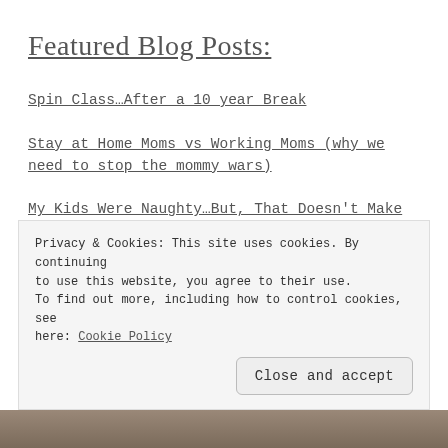Featured Blog Posts:
Spin Class…After a 10 year Break
Stay at Home Moms vs Working Moms (why we need to stop the mommy wars)
My Kids Were Naughty…But, That Doesn't Make ME a Bad Mom!
Privacy & Cookies: This site uses cookies. By continuing to use this website, you agree to their use. To find out more, including how to control cookies, see here: Cookie Policy
Close and accept
[Figure (photo): Photo strip at bottom of page showing people]